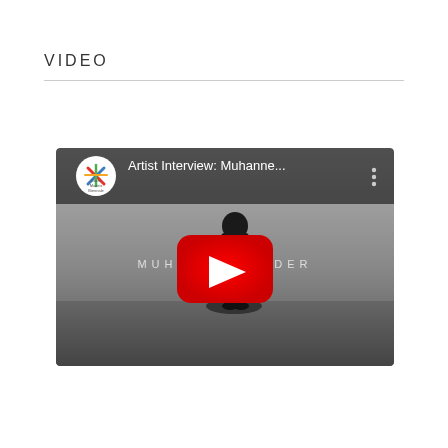VIDEO
[Figure (screenshot): YouTube video thumbnail showing a black and white photo of a man standing with arms crossed, with the text 'Artist Interview: Muhanne...' at the top and 'MUHANNED CADER' overlaid in the middle. A YouTube play button is visible in the center. A Kochi-Muzris Biennale logo appears in the top left corner.]